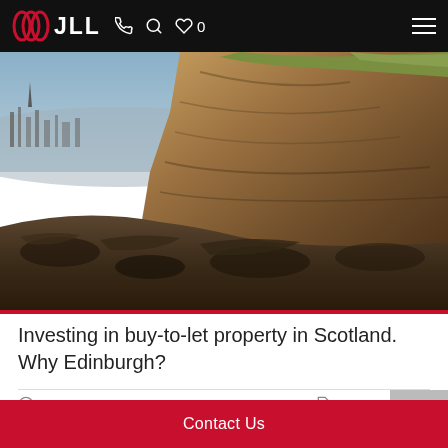JLL
[Figure (photo): Aerial view of Edinburgh city with dramatic rocky cliff face (Arthur's Seat area) in the foreground, showing rugged volcanic rock formations with the city skyline visible in the background under a pale sky.]
Investing in buy-to-let property in Scotland. Why Edinburgh?
15 Sep 2020
Edinburgh
Contact Us